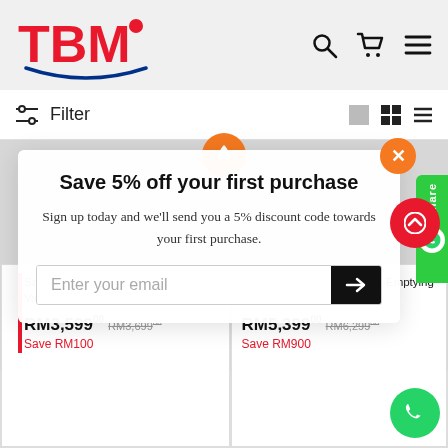TBM
Filter
Save 5% off your first purchase
Sign up today and we'll send you a 5% discount code towards your first purchase.
Enter your email
Samsung VS20A95843W/ME Vacuum Cleaner Jet One White
RM3,59900  RM3,69900  Save RM100
iRobot J7/55800 Room Self-Emptying Robot Va...
RM5,39900  RM6,29900  Save RM900